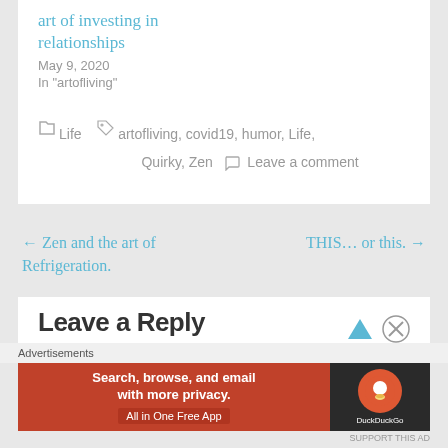art of investing in relationships
May 9, 2020
In "artofliving"
Life   artofliving, covid19, humor, Life, Quirky, Zen   Leave a comment
← Zen and the art of Refrigeration.
THIS… or this. →
Leave a Reply
Advertisements
Search, browse, and email with more privacy. All in One Free App   DuckDuckGo